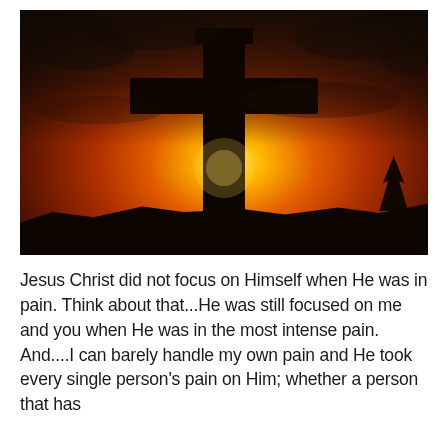[Figure (photo): Silhouette of Jesus Christ on a cross against a dramatic sunset sky with orange, red, and golden tones. Dark clouds overhead, glowing sun behind the figure, dark tree silhouette at lower right.]
Jesus Christ did not focus on Himself when He was in pain. Think about that...He was still focused on me and you when He was in the most intense pain. And....I can barely handle my own pain and He took every single person's pain on Him; whether a person that has